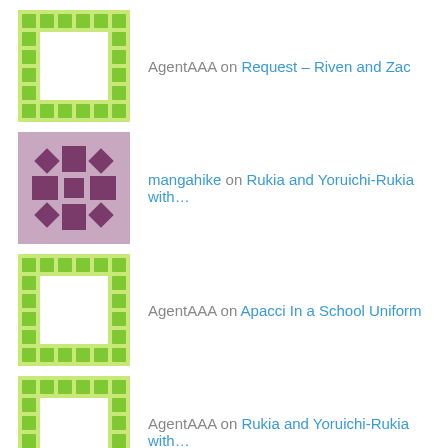AgentAAA on Request – Riven and Zac
mangahike on Rukia and Yoruichi-Rukia with…
AgentAAA on Apacci In a School Uniform
AgentAAA on Rukia and Yoruichi-Rukia with…
fuzzylittlekitty on Apacci Hugging Rukia
Archives
May 2020
March 2018
January 2018